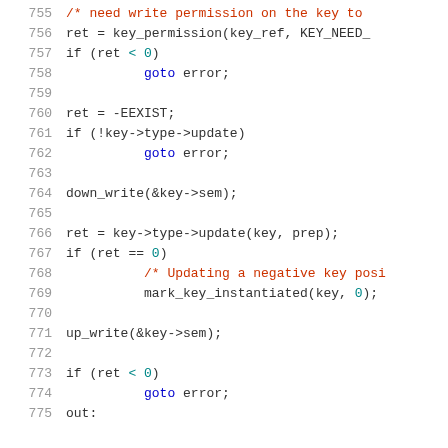[Figure (screenshot): Source code snippet showing lines 755-775 of a C kernel file with syntax highlighting. Lines include key_permission call, error handling with goto, key type update logic, down_write/up_write semaphore calls, and mark_key_instantiated.]